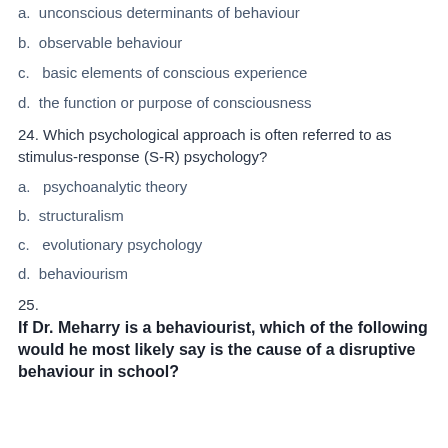a.  unconscious determinants of behaviour
b.  observable behaviour
c.  basic elements of conscious experience
d.  the function or purpose of consciousness
24. Which psychological approach is often referred to as stimulus-response (S-R) psychology?
a.  psychoanalytic theory
b.  structuralism
c.  evolutionary psychology
d.  behaviourism
25.
If Dr. Meharry is a behaviourist, which of the following would he most likely say is the cause of a disruptive behaviour in school?